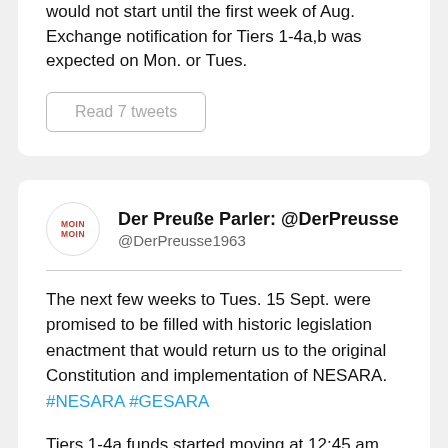would not start until the first week of Aug. Exchange notification for Tiers 1-4a,b was expected on Mon. or Tues.
Read 7 tweets
Der Preuße Parler: @DerPreusse
@DerPreusse1963
The next few weeks to Tues. 15 Sept. were promised to be filled with historic legislation enactment that would return us to the original Constitution and implementation of NESARA. #NESARA #GESARA
Tiers 1-4a funds started moving at 12:45 am EDT Tues. 28 July. Monies were moving through a required protocol, while many were looking for resolution and deliveries to start with liquidity for Tier 4b on Wed. 29 July. #NESARA